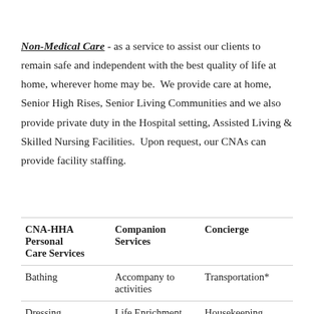Non-Medical Care - as a service to assist our clients to remain safe and independent with the best quality of life at home, wherever home may be.  We provide care at home, Senior High Rises, Senior Living Communities and we also provide private duty in the Hospital setting, Assisted Living & Skilled Nursing Facilities.  Upon request, our CNAs can provide facility staffing.
| CNA-HHA Personal Care Services | Companion Services | Concierge |
| --- | --- | --- |
| Bathing | Accompany to activities | Transportation* |
| Dressing | Life Enrichment | Housekeeping |